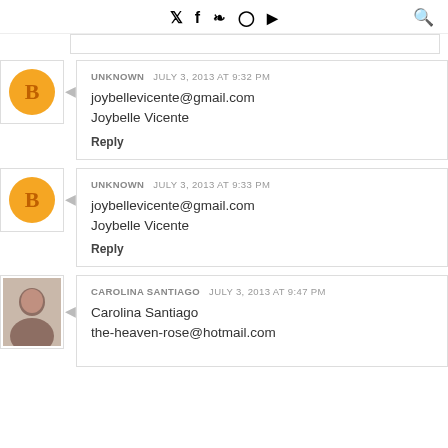Twitter Facebook Pinterest Instagram YouTube | Search
UNKNOWN  JULY 3, 2013 AT 9:32 PM
joybellevicente@gmail.com
Joybelle Vicente
Reply
UNKNOWN  JULY 3, 2013 AT 9:33 PM
joybellevicente@gmail.com
Joybelle Vicente
Reply
CAROLINA SANTIAGO  JULY 3, 2013 AT 9:47 PM
Carolina Santiago
the-heaven-rose@hotmail.com